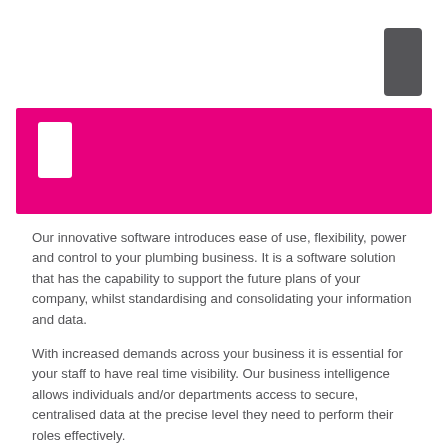[Figure (illustration): Dark grey rounded rectangle icon in top-right corner, resembling a mobile device]
[Figure (illustration): Magenta/hot pink banner background with a white rounded rectangle icon on the left side representing a mobile device]
Our innovative software introduces ease of use, flexibility, power and control to your plumbing business. It is a software solution that has the capability to support the future plans of your company, whilst standardising and consolidating your information and data.
With increased demands across your business it is essential for your staff to have real time visibility. Our business intelligence allows individuals and/or departments access to secure, centralised data at the precise level they need to perform their roles effectively.